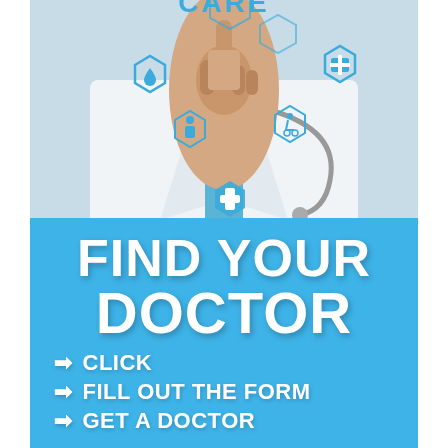[Figure (photo): Doctor in white coat pointing finger upward, with blue hexagonal medical icons (water drop, person, medical cross, wheelchair, first aid kit) overlaid on a light background. Stethoscope visible around neck.]
FIND YOUR DOCTOR
➡ CLICK
➡ FILL OUT THE FORM
➡ GET A DOCTOR